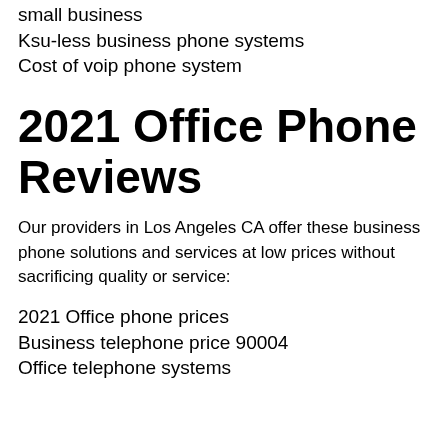small business
Ksu-less business phone systems
Cost of voip phone system
2021 Office Phone Reviews
Our providers in Los Angeles CA offer these business phone solutions and services at low prices without sacrificing quality or service:
2021 Office phone prices
Business telephone price 90004
Office telephone systems